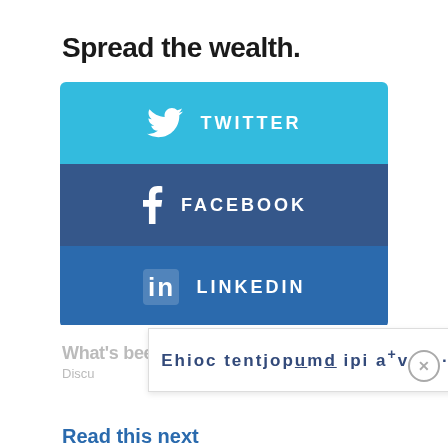Spread the wealth.
[Figure (infographic): Three social sharing buttons stacked vertically: Twitter (light blue), Facebook (dark navy blue), LinkedIn (medium blue), each with the platform icon and name in white capital letters.]
What's been said:
Discu
[Figure (other): CAPTCHA overlay with distorted text: 'Ehioc tentjopumd ipi auv of--p' with a symbol and a lock icon]
Read this next